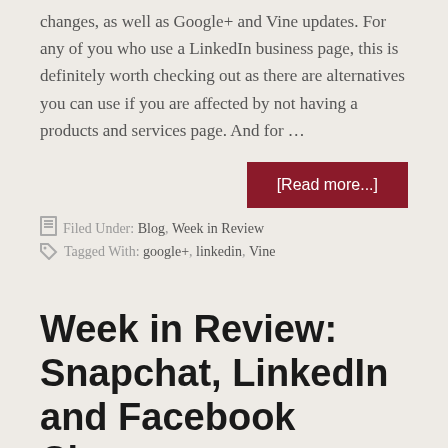changes, as well as Google+ and Vine updates. For any of you who use a LinkedIn business page, this is definitely worth checking out as there are alternatives you can use if you are affected by not having a products and services page. And for …
[Read more...]
Filed Under: Blog, Week in Review
Tagged With: google+, linkedin, Vine
Week in Review: Snapchat, LinkedIn and Facebook Changes
Posted on March 11, 2014 by autopi11 Leave a Comment